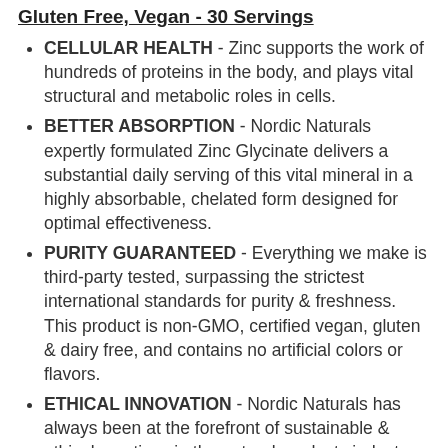Gluten Free, Vegan - 30 Servings
CELLULAR HEALTH - Zinc supports the work of hundreds of proteins in the body, and plays vital structural and metabolic roles in cells.
BETTER ABSORPTION - Nordic Naturals expertly formulated Zinc Glycinate delivers a substantial daily serving of this vital mineral in a highly absorbable, chelated form designed for optimal effectiveness.
PURITY GUARANTEED - Everything we make is third-party tested, surpassing the strictest international standards for purity & freshness. This product is non-GMO, certified vegan, gluten & dairy free, and contains no artificial colors or flavors.
ETHICAL INNOVATION - Nordic Naturals has always been at the forefront of sustainable & ethical practices in the natural products industry. Through science & innovation, we are